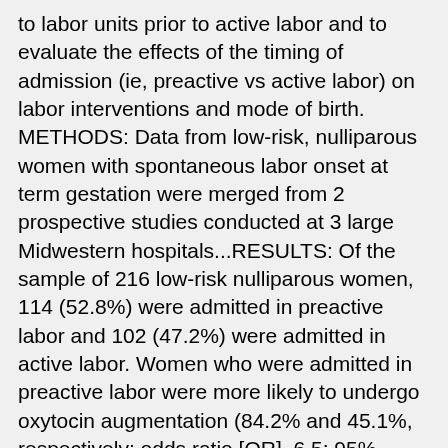to labor units prior to active labor and to evaluate the effects of the timing of admission (ie, preactive vs active labor) on labor interventions and mode of birth. METHODS: Data from low-risk, nulliparous women with spontaneous labor onset at term gestation were merged from 2 prospective studies conducted at 3 large Midwestern hospitals...RESULTS: Of the sample of 216 low-risk nulliparous women, 114 (52.8%) were admitted in preactive labor and 102 (47.2%) were admitted in active labor. Women who were admitted in preactive labor were more likely to undergo oxytocin augmentation (84.2% and 45.1%, respectively; odds ratio [OR], 6.5; 95% confidence interval [CI], 3.43-12.27) but not amniotomy (55.3% and 61.8%, respectively; OR, 0.8; 95% CI, 0.44-1.32) when compared to women admitted in active labor. The likelihood of cesarean birth was higher for women admitted before active labor onset (15.8% and 6.9%, respectively; OR, 2.6; 95% CI, 1.02-6.37). DISCUSSION: Many low-risk nulliparous